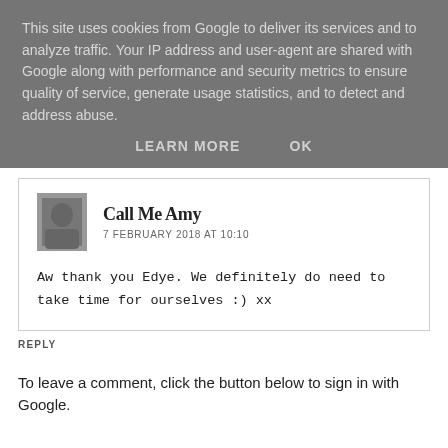This site uses cookies from Google to deliver its services and to analyze traffic. Your IP address and user-agent are shared with Google along with performance and security metrics to ensure quality of service, generate usage statistics, and to detect and address abuse.
LEARN MORE   OK
Call Me Amy
7 FEBRUARY 2018 AT 10:10
Aw thank you Edye. We definitely do need to take time for ourselves :) xx
REPLY
To leave a comment, click the button below to sign in with Google.